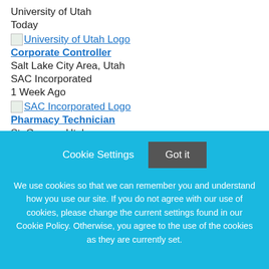University of Utah
Today
[Figure (logo): University of Utah Logo image placeholder]
Corporate Controller
Salt Lake City Area, Utah
SAC Incorporated
1 Week Ago
[Figure (logo): SAC Incorporated Logo image placeholder]
Pharmacy Technician
St. George, Utah
Cookie Settings   Got it
We use cookies so that we can remember you and understand how you use our site. If you do not agree with our use of cookies, please change the current settings found in our Cookie Policy. Otherwise, you agree to the use of the cookies as they are currently set.